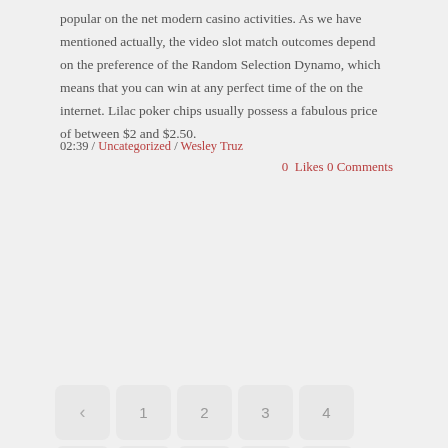popular on the net modern casino activities. As we have mentioned actually, the video slot match outcomes depend on the preference of the Random Selection Dynamo, which means that you can win at any perfect time of the on the internet. Lilac poker chips usually possess a fabulous price of between $2 and $2.50.
02:39 / Uncategorized / Wesley Truz
0  Likes 0 Comments
[Figure (other): Pagination widget showing navigation buttons: back arrow, pages 1-24 arranged in a 5-column grid, and a scroll-to-top circular button]